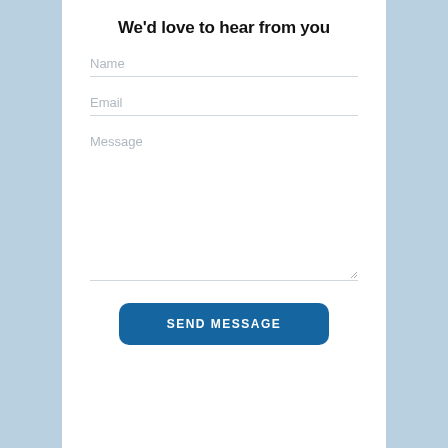We'd love to hear from you
Name
Email
Message
SEND MESSAGE